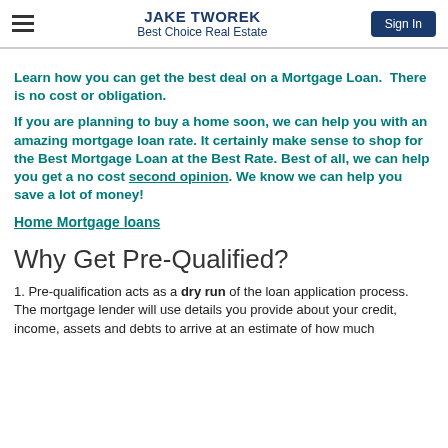JAKE TWOREK | Best Choice Real Estate | Sign In
Learn how you can get the best deal on a Mortgage Loan.  There is no cost or obligation.
If you are planning to buy a home soon, we can help you with an amazing mortgage loan rate. It certainly make sense to shop for the Best Mortgage Loan at the Best Rate. Best of all, we can help you get a no cost second opinion. We know we can help you save a lot of money!
Home Mortgage loans
Why Get Pre-Qualified?
1. Pre-qualification acts as a dry run of the loan application process. The mortgage lender will use details you provide about your credit, income, assets and debts to arrive at an estimate of how much money you can afford. The lender generally can provide...